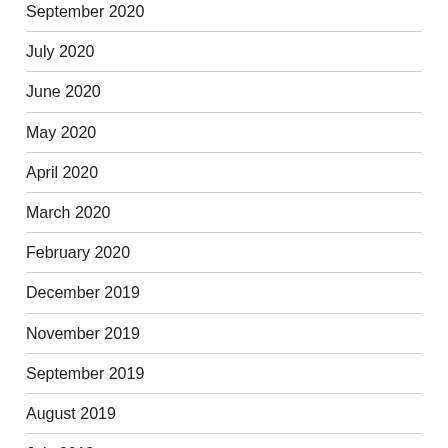September 2020
July 2020
June 2020
May 2020
April 2020
March 2020
February 2020
December 2019
November 2019
September 2019
August 2019
July 2019
June 2019
May 2019